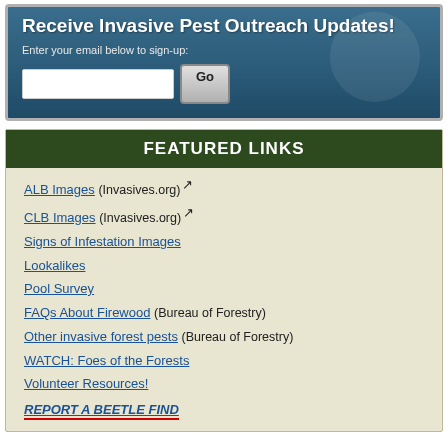Receive Invasive Pest Outreach Updates!
Enter your email below to sign-up:
FEATURED LINKS
ALB Images (Invasives.org) [external link]
CLB Images (Invasives.org) [external link]
Signs of Infestation Images
Lookalikes
Pool Survey
FAQs About Firewood (Bureau of Forestry)
Other invasive forest pests (Bureau of Forestry)
WATCH: Foes of the Forests
Volunteer Resources!
REPORT A BEETLE FIND